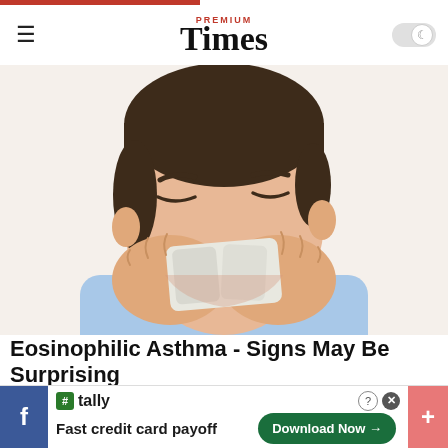PREMIUM Times
[Figure (illustration): Cartoon illustration of a man blowing his nose into a tissue, eyes closed, wearing a light blue shirt. Depicted in a semi-realistic illustration style with warm skin tones and dark brown hair.]
Eosinophilic Asthma - Signs May Be Surprising
Asthma | Search Ads | Sponsored
[Figure (screenshot): Tally app advertisement banner: 'Fast credit card payoff' with Download Now button. Flanked by Facebook tab on left and plus tab on right.]